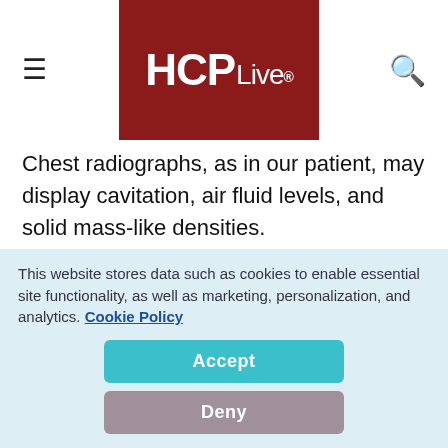HCPLive®
Chest radiographs, as in our patient, may display cavitation, air fluid levels, and solid mass-like densities.
In a patient with mucormycosis, however, magnetic resonance imaging (MRI) and computed tomography (CAT) scans usually
This website stores data such as cookies to enable essential site functionality, as well as marketing, personalization, and analytics. Cookie Policy
Accept
Deny